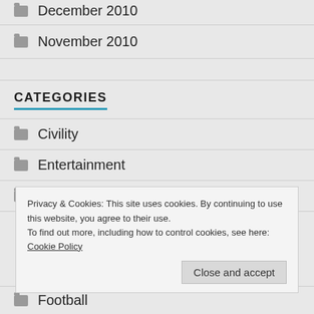December 2010
November 2010
CATEGORIES
Civility
Entertainment
family
Privacy & Cookies: This site uses cookies. By continuing to use this website, you agree to their use.
To find out more, including how to control cookies, see here: Cookie Policy
Football